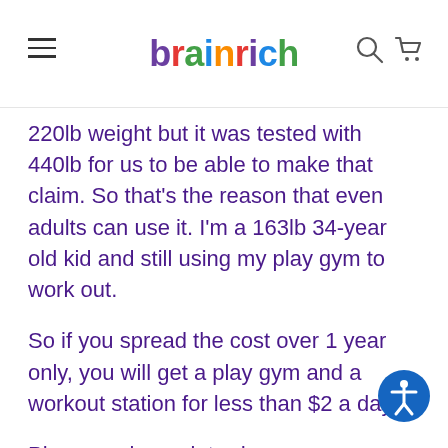brainrich
220lb weight but it was tested with 440lb for us to be able to make that claim. So that's the reason that even adults can use it. I'm a 163lb 34-year old kid and still using my play gym to work out.
So if you spread the cost over 1 year only, you will get a play gym and a workout station for less than $2 a day.
Plus, we always introduce new